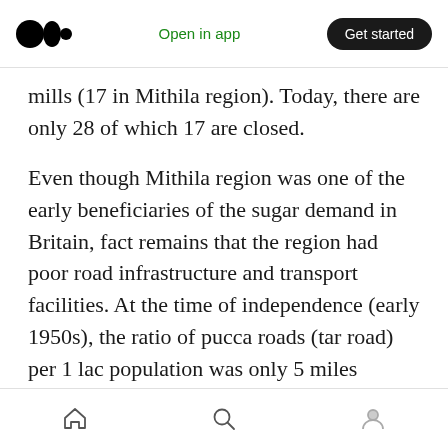Medium app header with logo, Open in app, Get started
mills (17 in Mithila region). Today, there are only 28 of which 17 are closed.
Even though Mithila region was one of the early beneficiaries of the sugar demand in Britain, fact remains that the region had poor road infrastructure and transport facilities. At the time of independence (early 1950s), the ratio of pucca roads (tar road) per 1 lac population was only 5 miles compared to 89 miles average for India as a whole. Even though the 2nd railway track was started to handle the Indigo commerce
Bottom navigation bar icons: home, search, profile